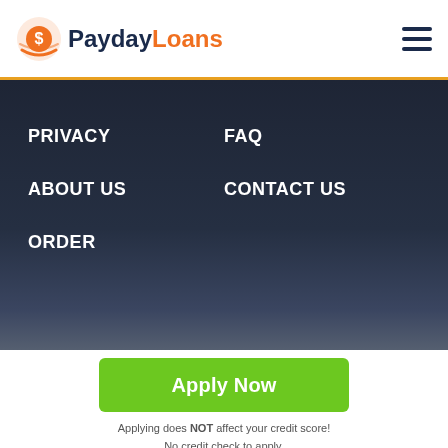[Figure (logo): PaydayLoans logo with orange coin icon and two-color wordmark: 'Payday' in dark navy, 'Loans' in orange]
[Figure (other): Hamburger menu icon (three horizontal lines) in dark navy]
PRIVACY
FAQ
ABOUT US
CONTACT US
ORDER
[Figure (other): Green 'Apply Now' button]
Applying does NOT affect your credit score!
No credit check to apply.